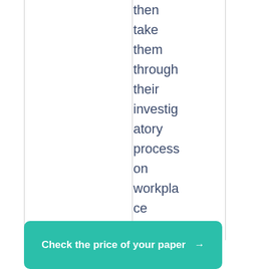then take them through their investigatory process on workplace safety in the company.
Check the price of your paper →